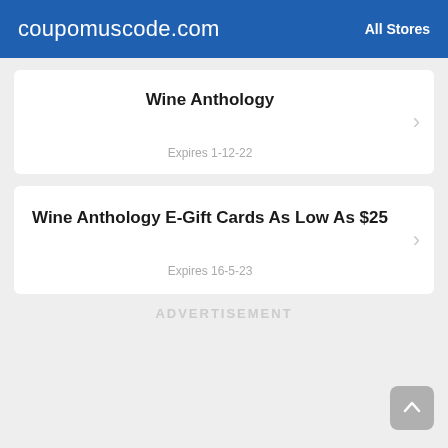coupomuscode.com   All Stores
Wine Anthology
Expires 1-12-22
Wine Anthology E-Gift Cards As Low As $25
Expires 16-5-23
ADVERTISEMENT